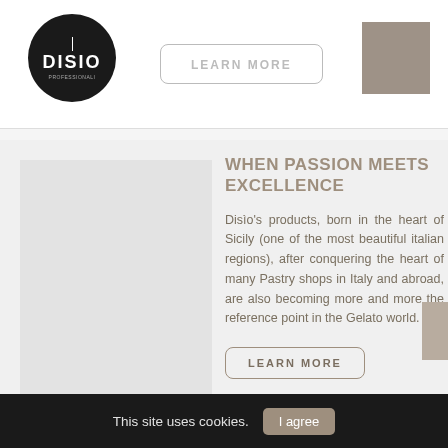[Figure (logo): Disio brand logo, circular dark background with DISIO text]
LEARN MORE
[Figure (other): Decorative taupe/grey square block in header]
[Figure (photo): Light grey image placeholder block]
WHEN PASSION MEETS EXCELLENCE
Disìo's products, born in the heart of Sicily (one of the most beautiful italian regions), after conquering the heart of many Pastry shops in Italy and abroad, are also becoming more and more the reference point in the Gelato world.
LEARN MORE
This site uses cookies. I agree